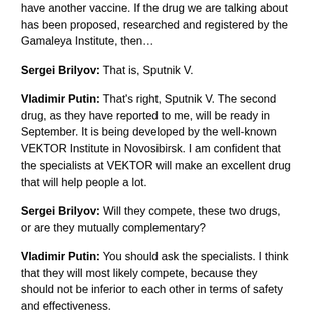have another vaccine. If the drug we are talking about has been proposed, researched and registered by the Gamaleya Institute, then…
Sergei Brilyov: That is, Sputnik V.
Vladimir Putin: That's right, Sputnik V. The second drug, as they have reported to me, will be ready in September. It is being developed by the well-known VEKTOR Institute in Novosibirsk. I am confident that the specialists at VEKTOR will make an excellent drug that will help people a lot.
Sergei Brilyov: Will they compete, these two drugs, or are they mutually complementary?
Vladimir Putin: You should ask the specialists. I think that they will most likely compete, because they should not be inferior to each other in terms of safety and effectiveness.